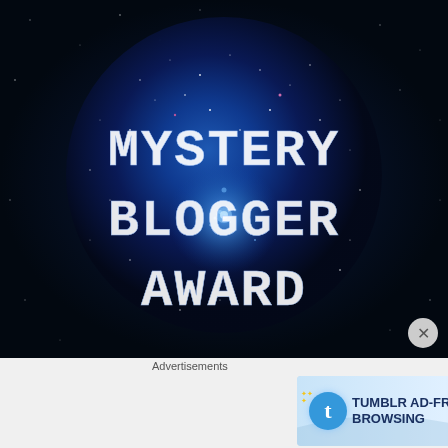[Figure (illustration): Mystery Blogger Award image: a dark blue starry galaxy sphere on a dark blue background with the text 'MYSTERY BLOGGER AWARD' in white typewriter-style letters]
Advertisements
[Figure (screenshot): Tumblr ad-free browsing advertisement banner: Tumblr 't' logo with stars decoration, text 'TUMBLR AD-FREE BROWSING', price '$39.99 a year or $4.99 a month']